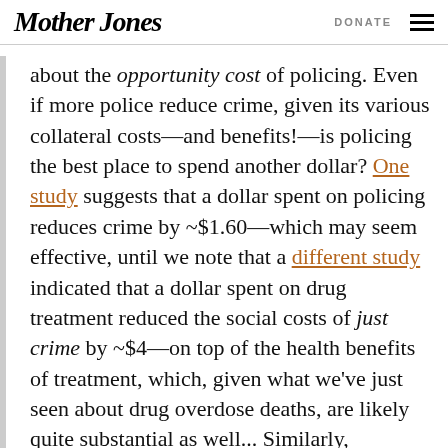Mother Jones   DONATE
about the opportunity cost of policing. Even if more police reduce crime, given its various collateral costs—and benefits!—is policing the best place to spend another dollar? One study suggests that a dollar spent on policing reduces crime by ~$1.60—which may seem effective, until we note that a different study indicated that a dollar spent on drug treatment reduced the social costs of just crime by ~$4—on top of the health benefits of treatment, which, given what we've just seen about drug overdose deaths, are likely quite substantial as well... Similarly, interventions like violence interrupters that may have less solid empirical